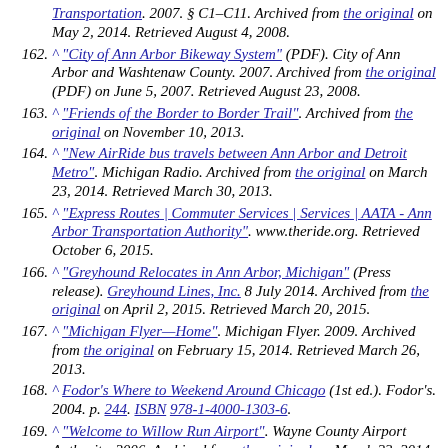Transportation. 2007. § C1–C11. Archived from the original on May 2, 2014. Retrieved August 4, 2008.
162. ^ "City of Ann Arbor Bikeway System" (PDF). City of Ann Arbor and Washtenaw County. 2007. Archived from the original (PDF) on June 5, 2007. Retrieved August 23, 2008.
163. ^ "Friends of the Border to Border Trail". Archived from the original on November 10, 2013.
164. ^ "New AirRide bus travels between Ann Arbor and Detroit Metro". Michigan Radio. Archived from the original on March 23, 2014. Retrieved March 30, 2013.
165. ^ "Express Routes | Commuter Services | Services | AATA - Ann Arbor Transportation Authority". www.theride.org. Retrieved October 6, 2015.
166. ^ "Greyhound Relocates in Ann Arbor, Michigan" (Press release). Greyhound Lines, Inc. 8 July 2014. Archived from the original on April 2, 2015. Retrieved March 20, 2015.
167. ^ "Michigan Flyer—Home". Michigan Flyer. 2009. Archived from the original on February 15, 2014. Retrieved March 26, 2013.
168. ^ Fodor's Where to Weekend Around Chicago (1st ed.). Fodor's. 2004. p. 244. ISBN 978-1-4000-1303-6.
169. ^ "Welcome to Willow Run Airport". Wayne County Airport Authority. 2006. Archived from the original on March 23, 2014. Retrieved August 23, 2009.
170. ^ "A Brief History". Central Michigan University—Clarke